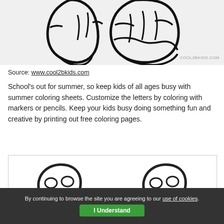[Figure (illustration): Partial coloring page showing a cartoon character's lower body/feet in black outline on light gray background, with watermark COOL2BKIDS.COM]
Source: www.cool2bkids.com
School's out for summer, so keep kids of all ages busy with summer coloring sheets. Customize the letters by coloring with markers or pencils. Keep your kids busy doing something fun and creative by printing out free coloring pages.
[Figure (illustration): Partial coloring page showing tops of cartoon character shapes in black outline on white background]
By continuing to browse the site you are agreeing to our use of cookies. I Understand